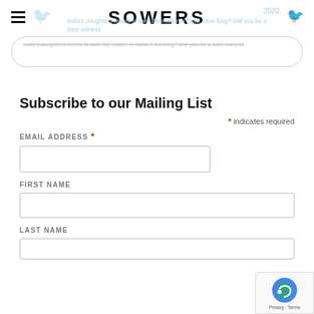SOWERS
India's daughters needs to take the matter in hand. How long? Will you be a bare witness
Subscribe to our Mailing List
* indicates required
EMAIL ADDRESS *
FIRST NAME
LAST NAME